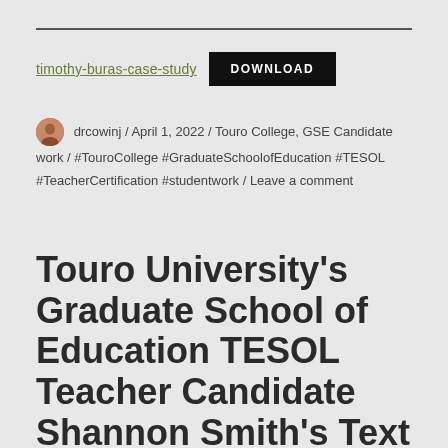timothy-buras-case-study   DOWNLOAD
drcowinj / April 1, 2022 / Touro College, GSE Candidate work / #TouroCollege #GraduateSchoolofEducation #TESOL #TeacherCertification #studentwork / Leave a comment
Touro University's Graduate School of Education TESOL Teacher Candidate Shannon Smith's Text Analysis for EDDN 637, Second